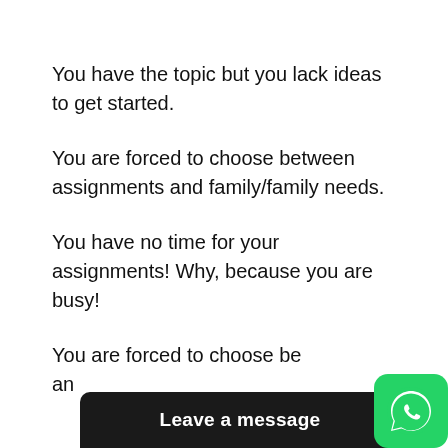You have the topic but you lack ideas to get started.
You are forced to choose between assignments and family/family needs.
You have no time for your assignments! Why, because you are busy!
You are forced to choose be... an...
Leave a message